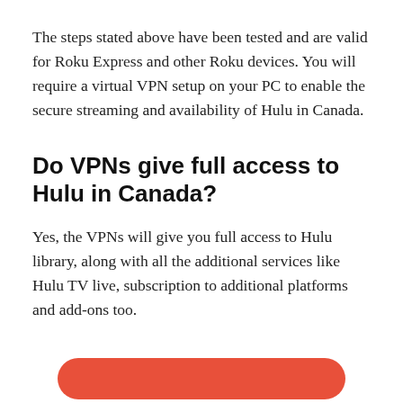The steps stated above have been tested and are valid for Roku Express and other Roku devices. You will require a virtual VPN setup on your PC to enable the secure streaming and availability of Hulu in Canada.
Do VPNs give full access to Hulu in Canada?
Yes, the VPNs will give you full access to Hulu library, along with all the additional services like Hulu TV live, subscription to additional platforms and add-ons too.
[Figure (other): Partial view of a red/coral rounded button at the bottom of the page]